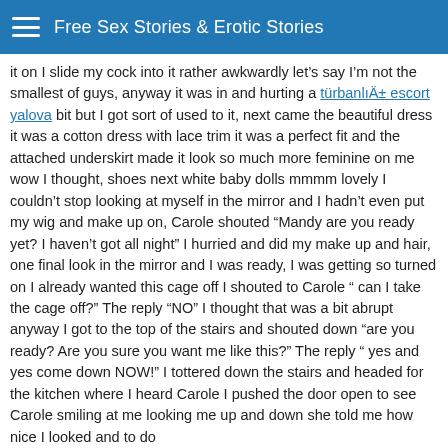Free Sex Stories & Erotic Stories
it on I slide my cock into it rather awkwardly let’s say I’m not the smallest of guys, anyway it was in and hurting a türbanlı escort yalova bit but I got sort of used to it, next came the beautiful dress it was a cotton dress with lace trim it was a perfect fit and the attached underskirt made it look so much more feminine on me wow I thought, shoes next white baby dolls mmmm lovely I couldn’t stop looking at myself in the mirror and I hadn’t even put my wig and make up on, Carole shouted “Mandy are you ready yet? I haven’t got all night” I hurried and did my make up and hair, one final look in the mirror and I was ready, I was getting so turned on I already wanted this cage off I shouted to Carole “ can I take the cage off?” The reply “NO” I thought that was a bit abrupt anyway I got to the top of the stairs and shouted down “are you ready? Are you sure you want me like this?” The reply “ yes and yes come down NOW!” I tottered down the stairs and headed for the kitchen where I heard Carole I pushed the door open to see Carole smiling at me looking me up and down she told me how nice I looked and to do